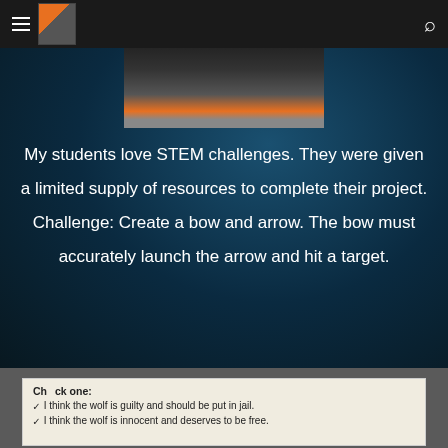Navigation header with hamburger menu, thumbnail image, and search icon
[Figure (photo): Partial photo showing shoes/feet on a dark floor with orange element visible, cropped at top]
My students love STEM challenges. They were given a limited supply of resources to complete their project. Challenge: Create a bow and arrow. The bow must accurately launch the arrow and hit a target.
[Figure (photo): Partial view of a worksheet with checkbox options: 'Check one: I think the wolf is guilty and should be put in jail. I think the wolf is innocent and deserves to be free.']